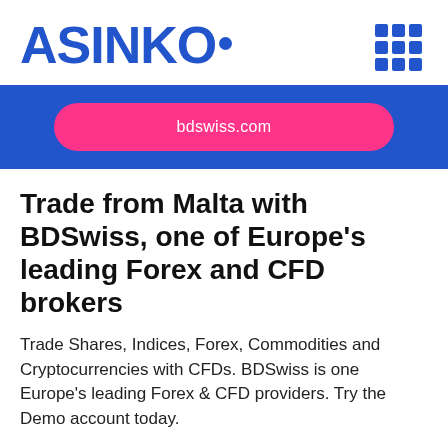ASINKO.
[Figure (other): 3x3 grid icon in blue, representing a menu/apps icon in the top right corner]
bdswiss.com
Trade from Malta with BDSwiss, one of Europe's leading Forex and CFD brokers
Trade Shares, Indices, Forex, Commodities and Cryptocurrencies with CFDs. BDSwiss is one Europe's leading Forex & CFD providers. Try the Demo account today.